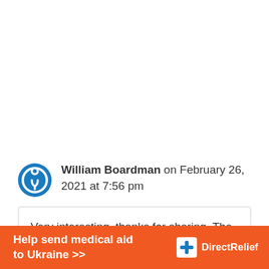William Boardman on February 26, 2021 at 7:56 pm
Very interesting, thanks for sharing. The Black Death, death toll is even more
[Figure (infographic): Orange advertisement banner: Help send medical aid to Ukraine >> with Direct Relief logo]